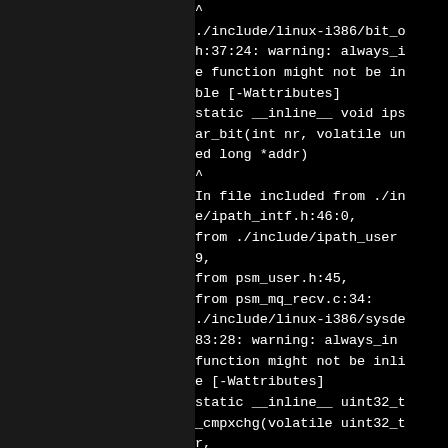^
./include/linux-i386/bit_o
h:37:24: warning: always_i
e function might not be in
ble [-Wattributes]
static __inline__ void ips
ar_bit(int nr, volatile un
ed long *addr)
^
In file included from ./in
e/ipath_intf.h:46:0,
from ./include/ipath_user
9,
from psm_user.h:45,
from psm_mq_recv.c:34:
./include/linux-i386/sysde
83:28: warning: always_in
function might not be inli
e [-Wattributes]
static __inline__ uint32_t
_cmpxchg(volatile uint32_t
r,
^
./include/linux-i386/sysde